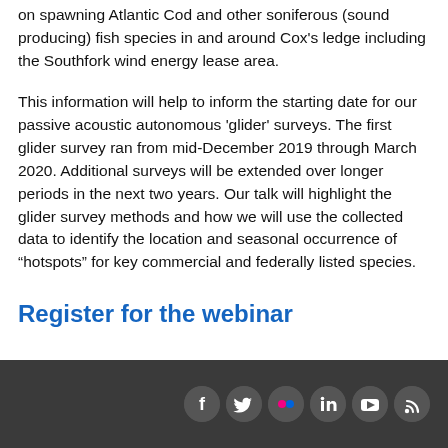on spawning Atlantic Cod and other soniferous (sound producing) fish species in and around Cox's ledge including the Southfork wind energy lease area.
This information will help to inform the starting date for our passive acoustic autonomous 'glider' surveys. The first glider survey ran from mid-December 2019 through March 2020. Additional surveys will be extended over longer periods in the next two years. Our talk will highlight the glider survey methods and how we will use the collected data to identify the location and seasonal occurrence of “hotspots” for key commercial and federally listed species.
Register for the webinar
Social media icons: Facebook, Twitter, Flickr, LinkedIn, YouTube, RSS